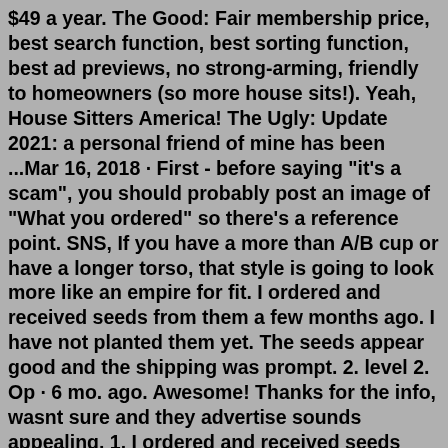$49 a year. The Good: Fair membership price, best search function, best sorting function, best ad previews, no strong-arming, friendly to homeowners (so more house sits!). Yeah, House Sitters America! The Ugly: Update 2021: a personal friend of mine has been ...Mar 16, 2018 · First - before saying "it's a scam", you should probably post an image of "What you ordered" so there's a reference point. SNS, If you have a more than A/B cup or have a longer torso, that style is going to look more like an empire for fit. I ordered and received seeds from them a few months ago. I have not planted them yet. The seeds appear good and the shipping was prompt. 2. level 2. Op · 6 mo. ago. Awesome! Thanks for the info, wasnt sure and they advertise sounds appealing. 1. I ordered and received seeds from them a few months ago. I have not planted them yet. The seeds appear good and the shipping was prompt. 2. level 2. Op · 6 mo. ago. Awesome! Thanks for the info, wasnt sure and they advertise sounds appealing. 1. May 16, 2015 ·